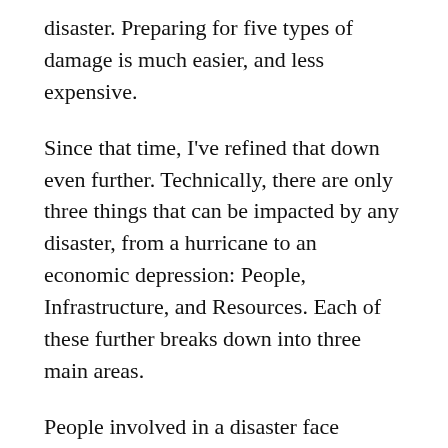disaster. Preparing for five types of damage is much easier, and less expensive.
Since that time, I've refined that down even further. Technically, there are only three things that can be impacted by any disaster, from a hurricane to an economic depression: People, Infrastructure, and Resources. Each of these further breaks down into three main areas.
People involved in a disaster face financial, physical, and resource impacts. Financial can be anything from loss of investments to loss of income, or even in extreme cases having currency devalued or worthless. Physical means some degree of damage to the body. Resources